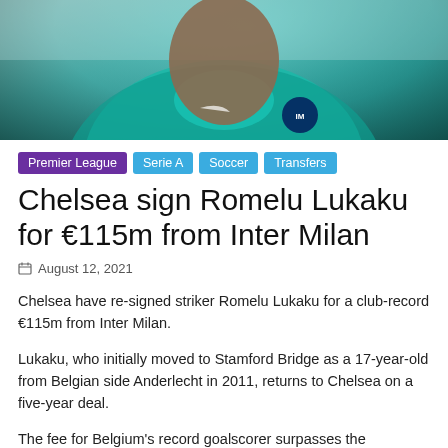[Figure (photo): Photo of Romelu Lukaku wearing an Inter Milan teal/turquoise training kit with the Inter logo visible]
Premier League
Serie A
Soccer
Transfers
Chelsea sign Romelu Lukaku for €115m from Inter Milan
August 12, 2021
Chelsea have re-signed striker Romelu Lukaku for a club-record €115m from Inter Milan.
Lukaku, who initially moved to Stamford Bridge as a 17-year-old from Belgian side Anderlecht in 2011, returns to Chelsea on a five-year deal.
The fee for Belgium's record goalscorer surpasses the